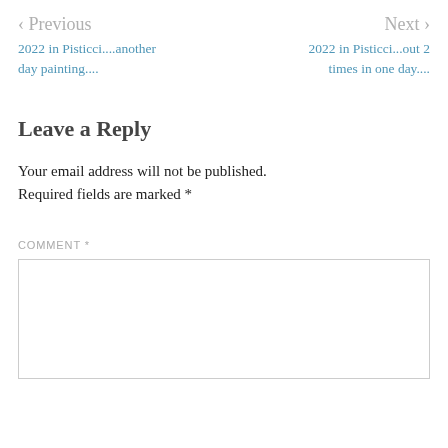< Previous
2022 in Pisticci....another day painting....
Next >
2022 in Pisticci...out 2 times in one day....
Leave a Reply
Your email address will not be published. Required fields are marked *
COMMENT *